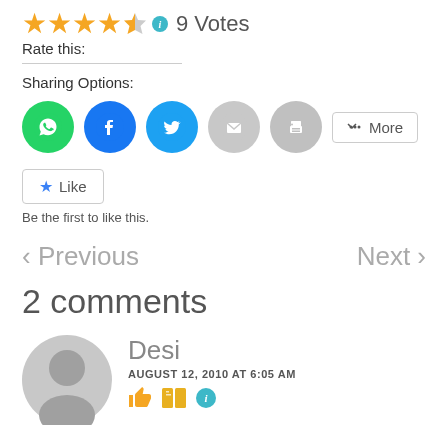[Figure (infographic): Star rating showing 4.5 out of 5 stars with info icon and '9 Votes' text]
Rate this:
Sharing Options:
[Figure (infographic): Social sharing buttons: WhatsApp, Facebook, Twitter, Email, Print, More]
[Figure (infographic): Like button with star icon]
Be the first to like this.
< Previous    Next >
2 comments
[Figure (illustration): Gray circular avatar placeholder for commenter Desi]
Desi
AUGUST 12, 2010 AT 6:05 AM